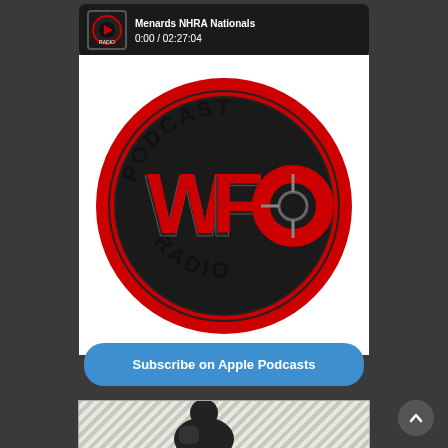[Figure (screenshot): Podcast audio player bar showing title 'Menards NHRA Nationals' and time '0:00 / 02:27:04' with a podcast radio thumbnail icon on dark background]
[Figure (logo): WFO Podcast Radio circular logo with red and black design, featuring large WFO letters in red with 'PODCAST' at top and 'RADIO' at bottom on white background]
Subscribe on Apple Podcasts
[Figure (illustration): Partial view of a black and white illustrated figure at the bottom of the page with diagonal stripe pattern background]